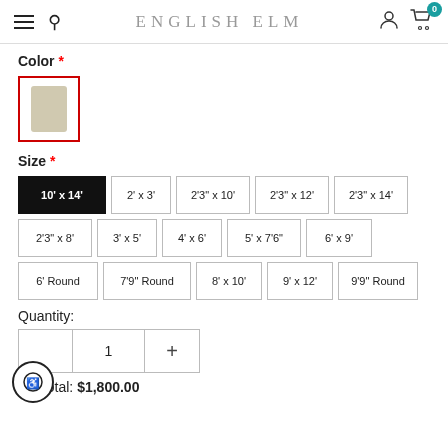ENGLISH ELM
Color *
[Figure (illustration): Color swatch thumbnail: beige/tan fabric swatch in a red-bordered box]
Size *
10' x 14' (selected), 2' x 3', 2'3" x 10', 2'3" x 12', 2'3" x 14'
2'3" x 8', 3' x 5', 4' x 6', 5' x 7'6", 6' x 9'
6' Round, 7'9" Round, 8' x 10', 9' x 12', 9'9" Round
Quantity:
Subtotal: $1,800.00